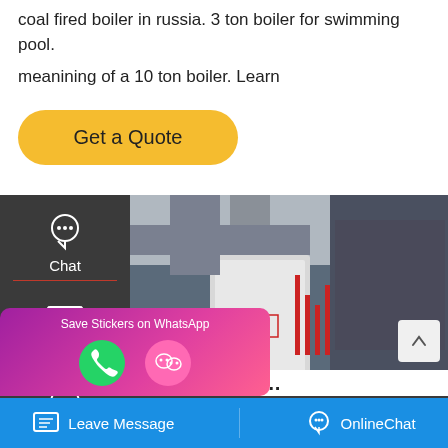coal fired boiler in russia. 3 ton boiler for swimming pool. meanining of a 10 ton boiler. Learn
Get a Quote
[Figure (screenshot): Sidebar with Chat, Email, Contact icons on dark background]
[Figure (photo): Industrial boiler equipment in a facility, with Chinese watermark text '方快锅炉']
Save Stickers on WhatsApp
Leave Message   OnlineChat